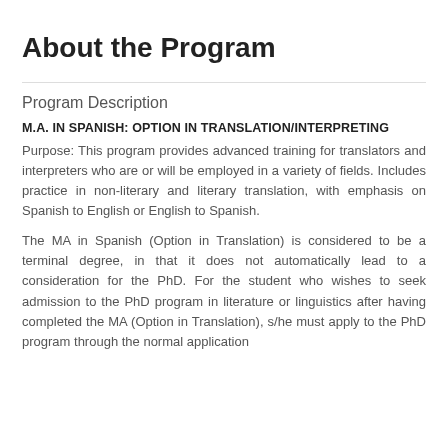About the Program
Program Description
M.A. IN SPANISH: OPTION IN TRANSLATION/INTERPRETING
Purpose: This program provides advanced training for translators and interpreters who are or will be employed in a variety of fields. Includes practice in non-literary and literary translation, with emphasis on Spanish to English or English to Spanish.
The MA in Spanish (Option in Translation) is considered to be a terminal degree, in that it does not automatically lead to a consideration for the PhD. For the student who wishes to seek admission to the PhD program in literature or linguistics after having completed the MA (Option in Translation), s/he must apply to the PhD program through the normal application